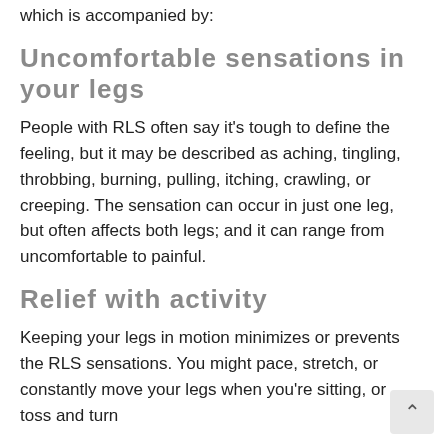which is accompanied by:
Uncomfortable sensations in your legs
People with RLS often say it's tough to define the feeling, but it may be described as aching, tingling, throbbing, burning, pulling, itching, crawling, or creeping. The sensation can occur in just one leg, but often affects both legs; and it can range from uncomfortable to painful.
Relief with activity
Keeping your legs in motion minimizes or prevents the RLS sensations. You might pace, stretch, or constantly move your legs when you're sitting, or toss and turn